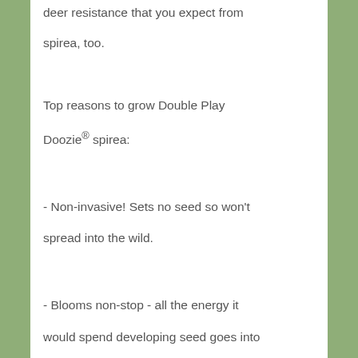deer resistance that you expect from spirea, too.
Top reasons to grow Double Play Doozie® spirea:
- Non-invasive! Sets no seed so won't spread into the wild.
- Blooms non-stop - all the energy it would spend developing seed goes into